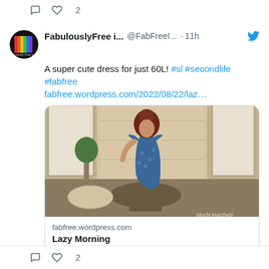[Figure (screenshot): Top section of Twitter/social media feed showing comment and heart icons with count '2']
[Figure (screenshot): Twitter profile avatar: circular image with rainbow color gradient stripes on black background, labeled 'Fabulously Free in SL']
FabulouslyFree i... @FabFreeI... · 11h
A super cute dress for just 60L! #sl #secondlife #fabfree fabfree.wordpress.com/2022/08/22/laz...
[Figure (photo): Digital/3D rendered image of a woman with red/auburn hair wearing a blue floral off-shoulder mini dress, standing in an interior scene with furniture and plants]
fabfree.wordpress.com
Lazy Morning
[Figure (screenshot): Bottom section showing comment and heart icons with count '2']